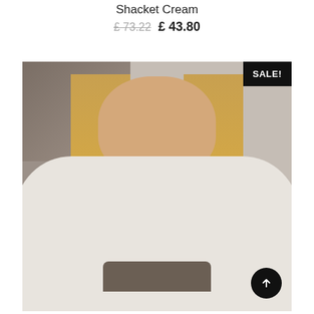Shacket Cream
£ 73.22  £ 43.80
[Figure (photo): Female model wearing a cream/white puffer shacket, open-front, standing against a concrete wall. A black SALE! badge appears in the top-right corner of the image. A dark oval scroll-up button is in the bottom-right of the image.]